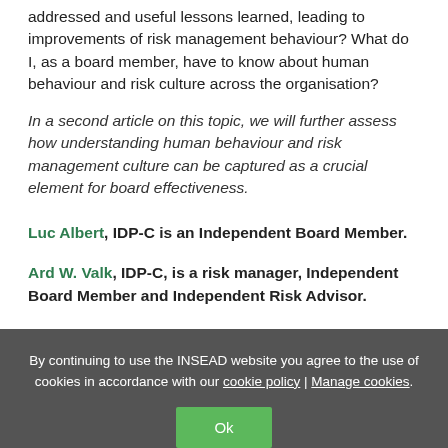addressed and useful lessons learned, leading to improvements of risk management behaviour? What do I, as a board member, have to know about human behaviour and risk culture across the organisation?
In a second article on this topic, we will further assess how understanding human behaviour and risk management culture can be captured as a crucial element for board effectiveness.
Luc Albert, IDP-C is an Independent Board Member.
Ard W. Valk, IDP-C, is a risk manager, Independent Board Member and Independent Risk Advisor.
By continuing to use the INSEAD website you agree to the use of cookies in accordance with our cookie policy | Manage cookies.